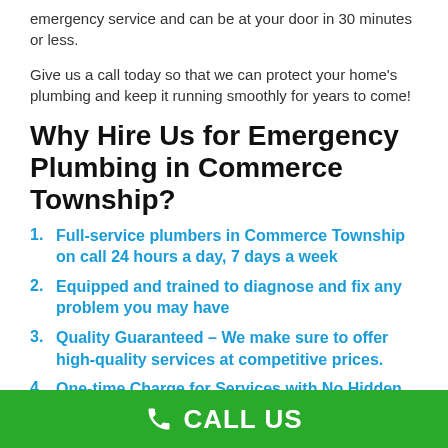emergency service and can be at your door in 30 minutes or less.
Give us a call today so that we can protect your home's plumbing and keep it running smoothly for years to come!
Why Hire Us for Emergency Plumbing in Commerce Township?
Full-service plumbers in Commerce Township on call 24 hours a day, 7 days a week
Equipped and trained to diagnose and fix any problem you may have
Quality Guaranteed – We make sure to offer high-quality services at competitive prices.
One-time Charge for Services with No Hidden Fees or Surprises
CALL US